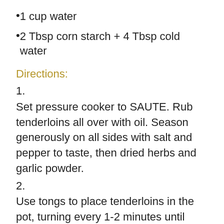1 cup water
2 Tbsp corn starch + 4 Tbsp cold water
Directions:
1.
Set pressure cooker to SAUTE. Rub tenderloins all over with oil. Season generously on all sides with salt and pepper to taste, then dried herbs and garlic powder.
2.
Use tongs to place tenderloins in the pot, turning every 1-2 minutes until browned on all sides.
3.
Whisk together soy sauce, brown sugar, balsamic vinegar, and water and add to the pot. Put the lid on in the locked